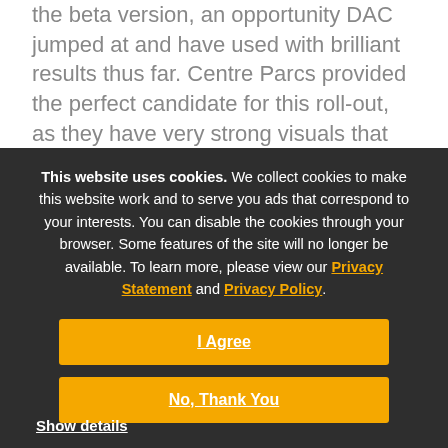the beta version, an opportunity DAC jumped at and have used with brilliant results thus far. Centre Parcs provided the perfect candidate for this roll-out, as they have very strong visuals that work especially well on Visual Sitelinks.
This website uses cookies. We collect cookies to make this website work and to serve you ads that correspond to your interests. You can disable the cookies through your browser. Some features of the site will no longer be available. To learn more, please view our Privacy Statement and Privacy Policy.
I Agree
No, Thank You
Show details